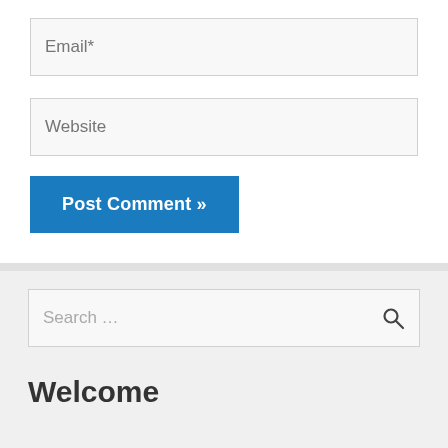Email*
Website
Post Comment »
Search …
Welcome